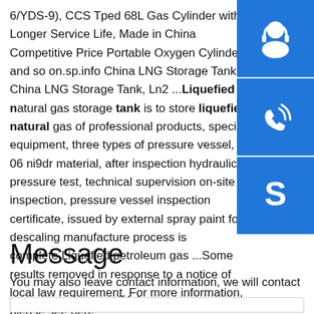6/YDS-9), CCS Tped 68L Gas Cylinder with Longer Service Life, Made in China Competitive Price Portable Oxygen Cylinder and so on.sp.info China LNG Storage Tank - China LNG Storage Tank, Ln2 ...Liquefied natural gas storage tank is to store liquefied natural gas of professional products, special equipment, three types of pressure vessel, 06 ni9dr material, after inspection hydraulic pressure test, technical supervision on-site inspection, pressure vessel inspection certificate, issued by external spray paint for descaling manufacture process is complete.Liquefied petroleum gas ...Some results have been removed in response to a notice of local law requirement. For more information, please see here.
[Figure (other): Three blue sidebar buttons with icons: customer service headset, phone/signal, and Skype logo]
Message
You may also leave contact information, we will contact you as soon as possible!